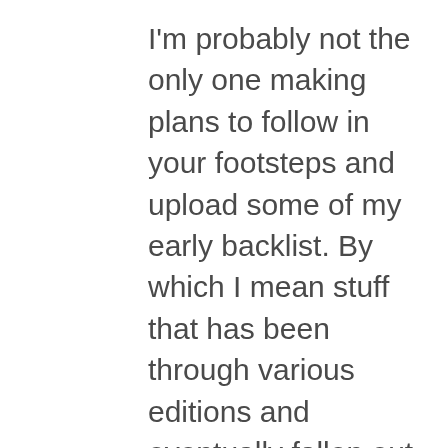I'm probably not the only one making plans to follow in your footsteps and upload some of my early backlist. By which I mean stuff that has been through various editions and eventually fallen out of print, but that some people continue to hunt down in bookstores. I made a point of discussing it with my agent. He won't get a cut of any Kindle sales, but I wouldn't want to compromise anything he may be able to do with the material in the future. I was prepared to hear reservations but he gave his blessing, with one caveat. He reckons that the only reason not to set up a Kindle edition is if the work in question has a